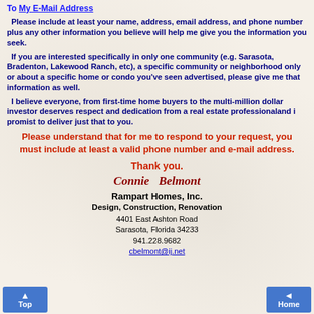To My E-Mail Address
Please include at least your name, address, email address, and phone number plus any other information you believe will help me give you the information you seek.
If you are interested specifically in only one community (e.g. Sarasota, Bradenton, Lakewood Ranch, etc), a specific community or neighborhood only or about a specific home or condo you've seen advertised, please give me that information as well.
I believe everyone, from first-time home buyers to the multi-million dollar investor deserves respect and dedication from a real estate professionaland i promist to deliver just that to you.
Please understand that for me to respond to your request, you must include at least a valid phone number and e-mail address.
Thank you.
Connie  Belmont
Rampart Homes, Inc.
Design, Construction, Renovation
4401 East Ashton Road
Sarasota, Florida 34233
941.228.9682
cbelmont@ij.net